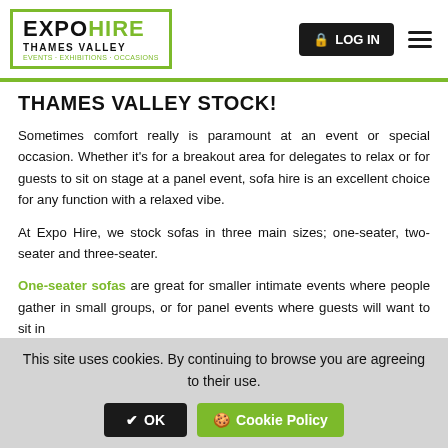EXPO HIRE THAMES VALLEY — EVENTS · EXHIBITIONS · OCCASIONS — LOG IN
THAMES VALLEY STOCK!
Sometimes comfort really is paramount at an event or special occasion. Whether it's for a breakout area for delegates to relax or for guests to sit on stage at a panel event, sofa hire is an excellent choice for any function with a relaxed vibe.
At Expo Hire, we stock sofas in three main sizes; one-seater, two-seater and three-seater.
One-seater sofas are great for smaller intimate events where people gather in small groups, or for panel events where guests will want to sit in
This site uses cookies. By continuing to browse you are agreeing to their use.